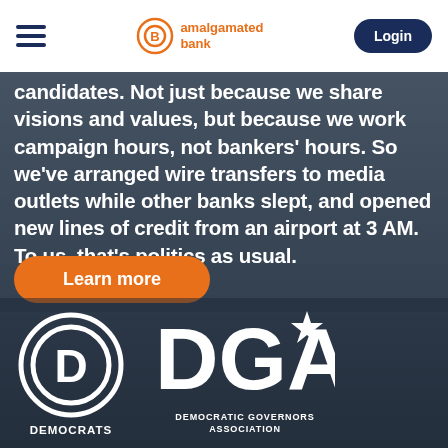Amalgamated Bank – Navigation bar with hamburger menu, logo, and Login button
candidates. Not just because we share visions and values, but because we work campaign hours, not bankers' hours. So we've arranged wire transfers to media outlets while other banks slept, and opened new lines of credit from an airport at 3 AM. To us, that's politics as usual.
Learn more
[Figure (logo): Democrats logo – circular D symbol with text DEMOCRATS below]
[Figure (logo): DGA logo – large DGA letters with star, text DEMOCRATIC GOVERNORS ASSOCIATION below]